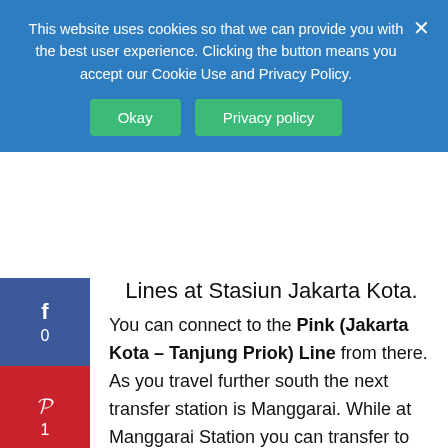This website uses cookies so that we can provide you with the best user experience. Clicking the button means you accept our Cookie Use and Privacy Policy.
Okay | Privacy policy
Lines at Stasiun Jakarta Kota.
You can connect to the Pink (Jakarta Kota – Tanjung Priok) Line from there. As you travel further south the next transfer station is Manggarai. While at Manggarai Station you can transfer to the Blue (Jakarta Kota – Cikarang) Line or the Yellow (Jatinegara – Bogor) Line.
The last opportunity to transfer off of the Red Line while travelling south towards Bogor is at Citayam